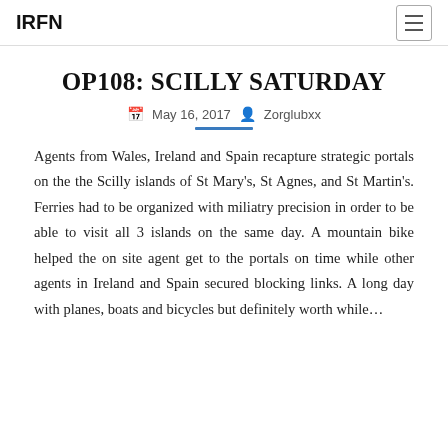IRFN
OP108: SCILLY SATURDAY
May 16, 2017  Zorglubxx
Agents from Wales, Ireland and Spain recapture strategic portals on the the Scilly islands of St Mary's, St Agnes, and St Martin's. Ferries had to be organized with miliatry precision in order to be able to visit all 3 islands on the same day. A mountain bike helped the on site agent get to the portals on time while other agents in Ireland and Spain secured blocking links. A long day with planes, boats and bicycles but definitely worth while…